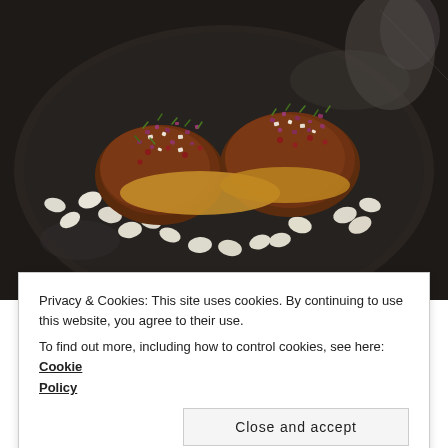[Figure (photo): Close-up food photo of roasted/braised meat pieces topped with diced red onion, herbs, and a creamy sauce, served on white beans in a dark dish.]
Privacy & Cookies: This site uses cookies. By continuing to use this website, you agree to their use.
To find out more, including how to control cookies, see here: Cookie Policy
Close and accept
7. EATALY